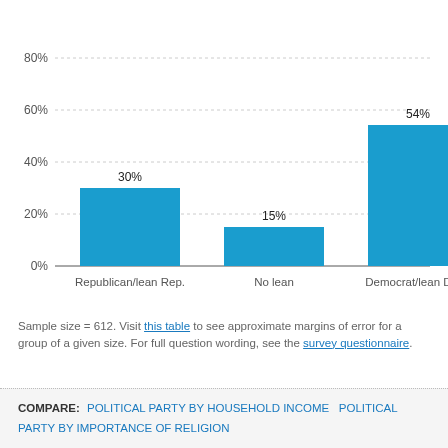[Figure (bar-chart): ]
Sample size = 612. Visit this table to see approximate margins of error for a group of a given size. For full question wording, see the survey questionnaire.
COMPARE: POLITICAL PARTY BY HOUSEHOLD INCOME   POLITICAL PARTY BY IMPORTANCE OF RELIGION